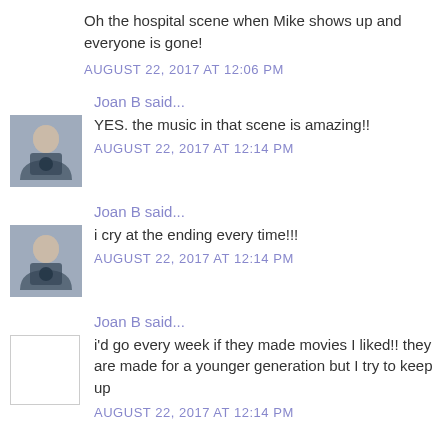Oh the hospital scene when Mike shows up and everyone is gone!
AUGUST 22, 2017 AT 12:06 PM
Joan B said...
YES. the music in that scene is amazing!!
AUGUST 22, 2017 AT 12:14 PM
Joan B said...
i cry at the ending every time!!!
AUGUST 22, 2017 AT 12:14 PM
Joan B said...
i'd go every week if they made movies I liked!! they are made for a younger generation but I try to keep up
AUGUST 22, 2017 AT 12:14 PM